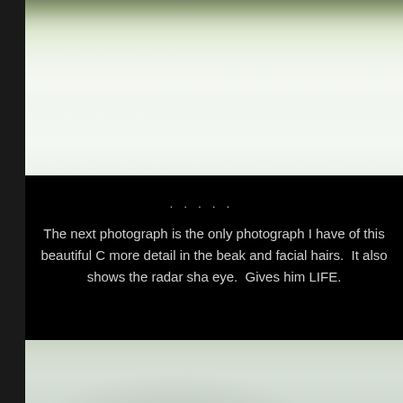[Figure (photo): Bottom portion of a snowy outdoor photograph showing white snow surface with slight texture and sparkle, with rocky or earthy background at the very top edge]
. . . . .
The next photograph is the only photograph I have of this beautiful C more detail in the beak and facial hairs.  It also shows the radar sha eye.  Gives him LIFE.
[Figure (photo): Top portion of another photograph showing a blurry, soft-focus outdoor scene with snow and muted grey-green tones, likely a bird or animal in a snowy environment]